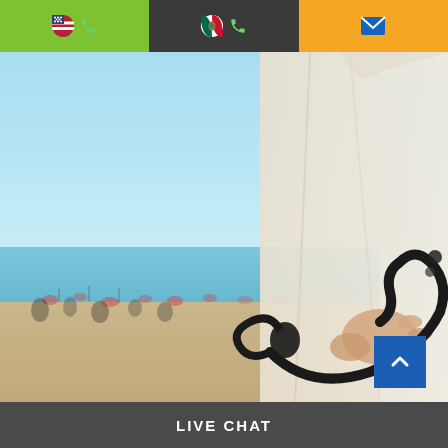[Figure (screenshot): Website header navigation bar with three sections: green section with US flag emoji and phone icon, dark section with Mexico flag emoji and phone icon, orange section with email/envelope icon]
[Figure (photo): Doctor in white coat seen from behind holding a stethoscope behind their back, with a blurred beach/ocean scene in the background]
[Figure (other): Blue scroll-to-top button with upward chevron arrow]
LIVE CHAT